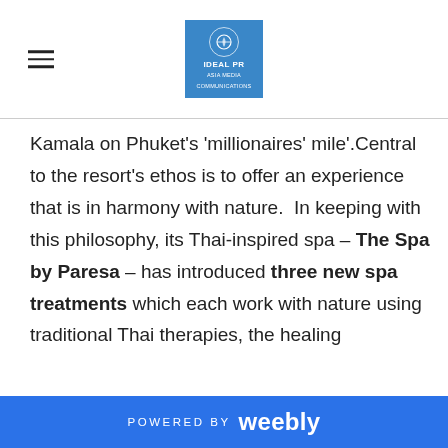IDEAL PR [logo]
Kamala on Phuket’s ‘millionaires’ mile’.Central to the resort’s ethos is to offer an experience that is in harmony with nature.  In keeping with this philosophy, its Thai-inspired spa – The Spa by Paresa – has introduced three new spa treatments which each work with nature using traditional Thai therapies, the healing properties of local ingredients and ancient healing crystals to enhance the feeling of well-being and create a sense of nourishment and rejuvenation.
POWERED BY weebly